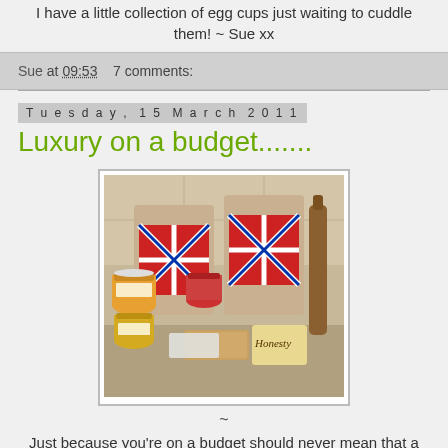I have a little collection of egg cups just waiting to cuddle them! ~ Sue xx
Sue at 09:53    7 comments:
Tuesday, 15 March 2011
Luxury on a budget.......
[Figure (photo): A collection of food products including jars of jam and chutney, bottles, baked goods, and a 'Honesty' branded item, displayed in front of Union Jack shopping bags on a kitchen counter.]
~
Just because you're on a budget should never mean that a